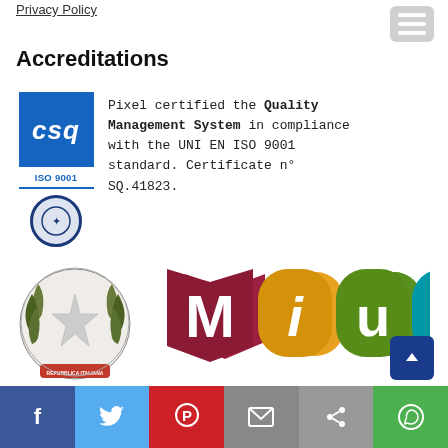Privacy Policy
Accreditations
[Figure (logo): CSQ ISO 9001 certification logo with blue square and circular accreditation seal]
Pixel certified the Quality Management System in compliance with the UNI EN ISO 9001 standard. Certificate n° SQ.41823.
[Figure (logo): MIUR - Ministero dell'Istruzione, dell'Università e della Ricerca logo with Italian Republic emblem and colorful MIUR letter badges]
MINISTERO DELL' ISTRUZIONE, DELL'UNIVERSITÀ E DELLA RICERCA
Pixel is accredited by the Italian Ministry of Education with Legislative Act of 000925.29-07-2020